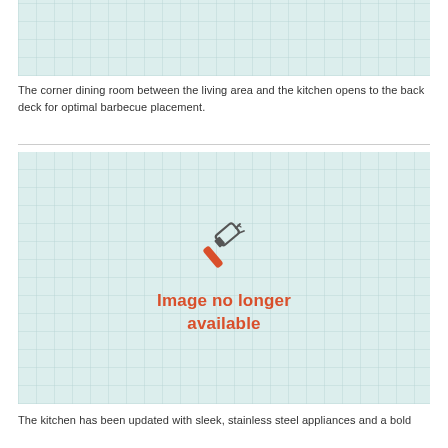[Figure (photo): Top image placeholder with grid pattern background]
The corner dining room between the living area and the kitchen opens to the back deck for optimal barbecue placement.
[Figure (illustration): Image no longer available placeholder with hammer icon and red text reading 'Image no longer available']
The kitchen has been updated with sleek, stainless steel appliances and a bold